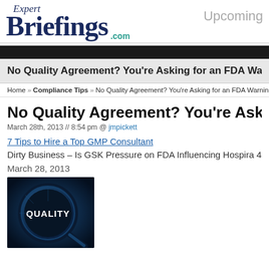Expert Briefings .com | Upcoming
No Quality Agreement? You're Asking for an FDA Warning Letter
Home » Compliance Tips » No Quality Agreement? You're Asking for an FDA Warning Le
No Quality Agreement? You're Asking for an FDA Warning Letter
March 28th, 2013 // 8:54 pm @ jmpickett
7 Tips to Hire a Top GMP Consultant
Dirty Business – Is GSK Pressure on FDA Influencing Hospira 483 Failure
March 28, 2013
[Figure (photo): Dark circular magnifying glass highlighting the word QUALITY in white text on a dark blue background]